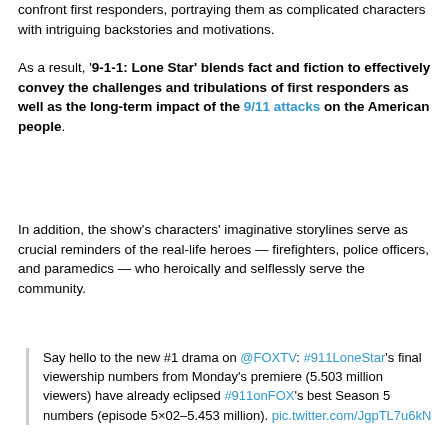confront first responders, portraying them as complicated characters with intriguing backstories and motivations.
As a result, '9-1-1: Lone Star' blends fact and fiction to effectively convey the challenges and tribulations of first responders as well as the long-term impact of the 9/11 attacks on the American people.
In addition, the show's characters' imaginative storylines serve as crucial reminders of the real-life heroes — firefighters, police officers, and paramedics — who heroically and selflessly serve the community.
Say hello to the new #1 drama on @FOXTV: #911LoneStar's final viewership numbers from Monday's premiere (5.503 million viewers) have already eclipsed #911onFOX's best Season 5 numbers (episode 5×02–5.453 million). pic.twitter.com/JgpTL7u6kN